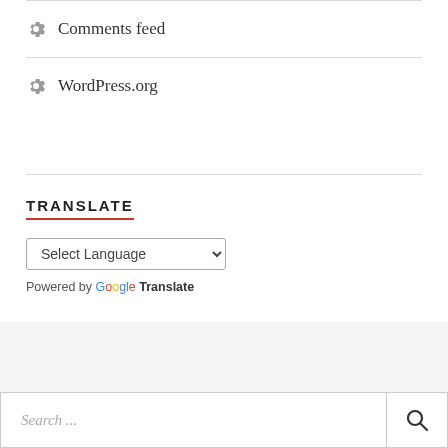Comments feed
WordPress.org
TRANSLATE
Select Language
Powered by Google Translate
Search ...